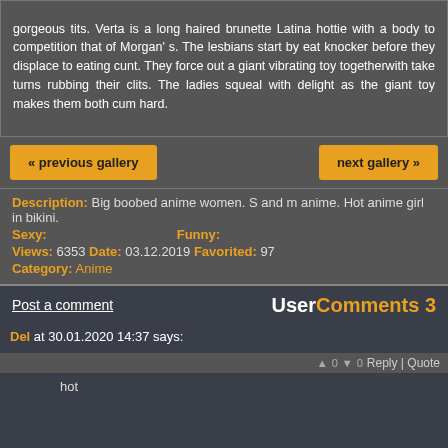gorgeous tits. Verta is a long haired brunette Latina hottie with a body to competition that of Morgan's. The lesbians start by eat knocker before they displace to eating cunt. They force out a giant vibrating toy togetherwith take turns rubbing their clits. The ladies squeal with delight as the giant toy makes them both cum hard.
« previous gallery
next gallery »
Description: Big boobed anime women. S and m anime. Hot anime girl in bikini.
Sexy:    Funny:
Views: 6353  Date: 03.12.2019  Favorited: 97
Category: Anime
User Comments 3
Post a comment
Del at 30.01.2020 14:37 says:
hot
Girard at 17.10.2019 18:30 says: